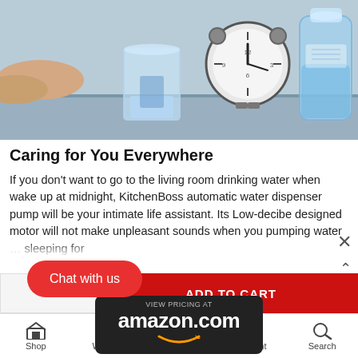[Figure (photo): Photo of a glass of water, an alarm clock, and a large water bottle on a bedside table, with a hand reaching from the left. Blue-toned nighttime scene.]
Caring for You Everywhere
If you don't want to go to the living room drinking water when wake up at midnight, KitchenBoss automatic water dispenser pump will be your intimate life assistant. Its Low-decibe designed motor will not make unpleasant sounds when you pumping water ... sleeping for
[Figure (other): Amazon.com VIEW PRICING AT banner overlay on dark background with Amazon smile logo]
ADD TO CART
Chat with us
Shop   Wishlist   Cart   Account   Search